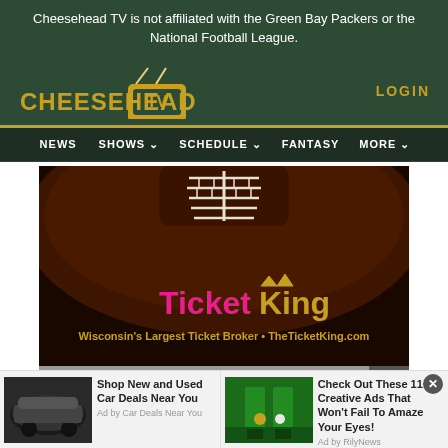Cheesehead TV is not affiliated with the Green Bay Packers or the National Football League.
[Figure (logo): Cheesehead TV logo with yellow text and TV icon on dark green background]
LOGIN
NEWS  SHOWS  SCHEDULE  FANTASY  MORE
[Figure (illustration): Advertisement banner for TicketKing showing close-up of football with TicketKing branding. Text: Wisconsin's Largest Ticket Broker • TheTicketKing.com]
[Figure (infographic): Bottom ad strip with two ads: 'Shop New and Used Car Deals Near You' by Car Deals Near You, and 'Check Out These 11 Creative Ads That Won't Fail To Amaze Your Eyes!' by RilyNews]